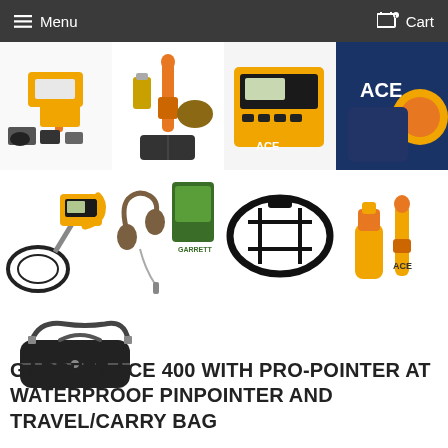Menu   Cart
[Figure (photo): Grid of 8 product photos showing Garrett ACE 400 metal detector accessories and sets: top row has 4 product images (detector kit with accessories, orange pro-pointer at with bag, ACE 300i control box, ACE bag/cover), mid row has 4 product images (ACE 400 metal detector, camo headphones with package, search coil, yellow pro-pointer), bottom row shows 1 product image (black travel/carry bag).]
GARRETT ACE 400 WITH PRO-POINTER AT WATERPROOF PINPOINTER AND TRAVEL/CARRY BAG